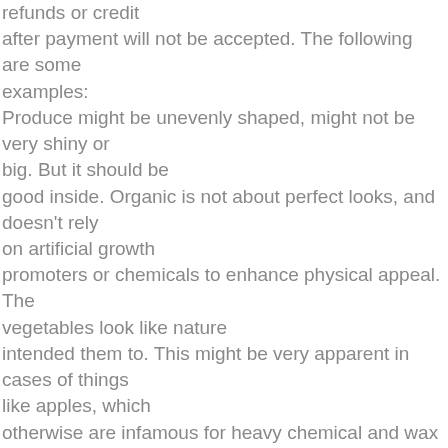refunds or credit after payment will not be accepted. The following are some examples: Produce might be unevenly shaped, might not be very shiny or big. But it should be good inside. Organic is not about perfect looks, and doesn't rely on artificial growth promoters or chemicals to enhance physical appeal. The vegetables look like nature intended them to. This might be very apparent in cases of things like apples, which otherwise are infamous for heavy chemical and wax use (to make them look pretty), while in some cases the vegetables will look no different than a chemically grown vegetable There might be slight variations in color, size, and taste over the